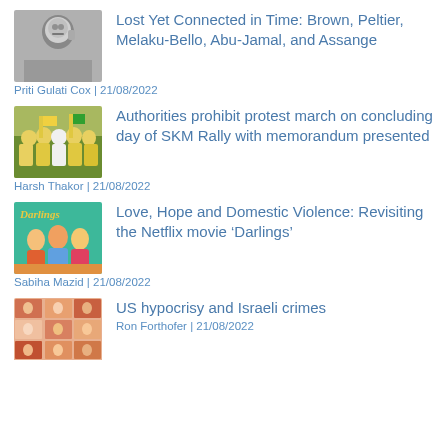[Figure (photo): Black and white photo of a man with a mustache making a hand gesture near his face]
Lost Yet Connected in Time: Brown, Peltier, Melaku-Bello, Abu-Jamal, and Assange
Priti Gulati Cox | 21/08/2022
[Figure (photo): Photo of a group of people in yellow outfits at a protest rally]
Authorities prohibit protest march on concluding day of SKM Rally with memorandum presented
Harsh Thakor | 21/08/2022
[Figure (photo): Movie poster for Darlings showing colorful characters on a teal background with Darlings text]
Love, Hope and Domestic Violence: Revisiting the Netflix movie ‘Darlings’
Sabiha Mazid | 21/08/2022
[Figure (photo): Grid of small portrait photos of children with orange and peach tones]
US hypocrisy and Israeli crimes
Ron Forthofer | 21/08/2022